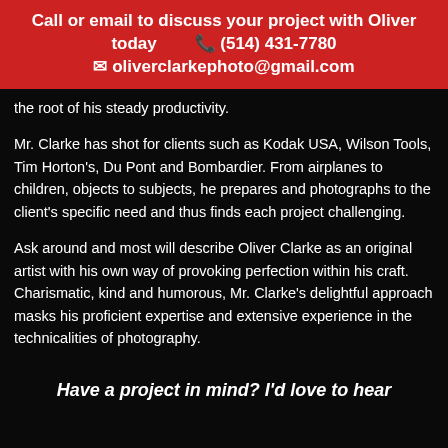Call or email to discuss your project with Oliver today  (514) 431-7780  oliverclarkephoto@gmail.com
the root of his steady productivity.
Mr. Clarke has shot for clients such as Kodak USA, Wilson Tools, Tim Horton's, Du Pont and Bombardier. From airplanes to children, objects to subjects, he prepares and photographs to the client's specific need and thus finds each project challenging.
Ask around and most will describe Oliver Clarke as an original artist with his own way of provoking perfection within his craft. Charismatic, kind and humorous, Mr. Clarke's delightful approach masks his proficient expertise and extensive experience in the technicalities of photography.
Have a project in mind? I'd love to hear